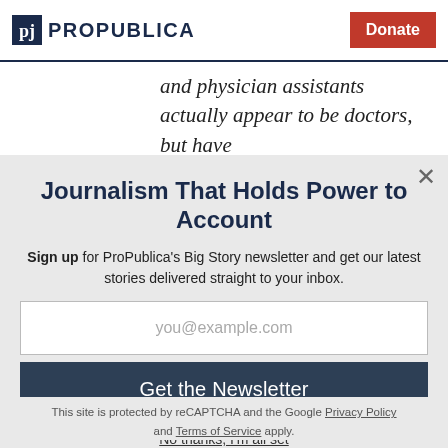ProPublica | Donate
and physician assistants actually appear to be doctors, but have
Journalism That Holds Power to Account
Sign up for ProPublica's Big Story newsletter and get our latest stories delivered straight to your inbox.
you@example.com
Get the Newsletter
No thanks, I'm all set
This site is protected by reCAPTCHA and the Google Privacy Policy and Terms of Service apply.